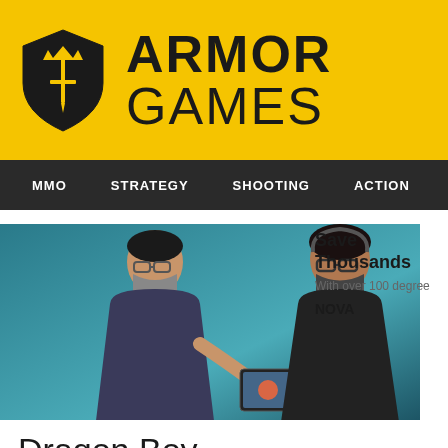ARMOR GAMES
MMO | STRATEGY | SHOOTING | ACTION | ADVENTURE | P
[Figure (photo): Two masked individuals looking at a tablet/device, teal background. Advertisement image.]
Save Thousands
With over 100 degree
NOVA
Dragon Boy
84  1M  DRAGON  CLASSIC  FANTASY  ADVENTURE  MYTHOLOGICAL